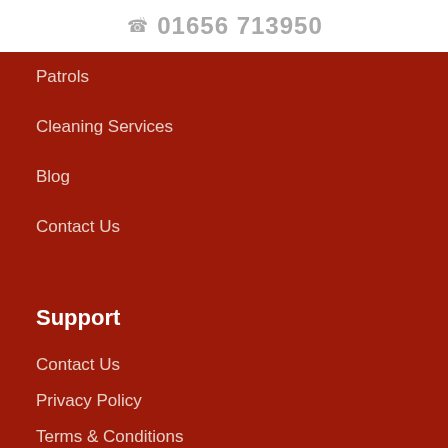📞 01656 713950
Patrols
Cleaning Services
Blog
Contact Us
Support
Contact Us
Privacy Policy
Terms & Conditions